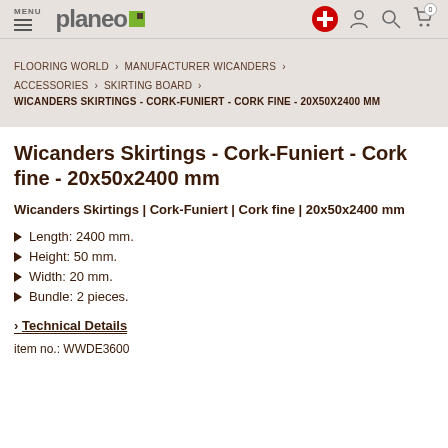MENU planeo
FLOORING WORLD › MANUFACTURER WICANDERS › ACCESSORIES › SKIRTING BOARD › WICANDERS SKIRTINGS - CORK-FUNIERT - CORK FINE - 20X50X2400 MM
Wicanders Skirtings - Cork-Funiert - Cork fine - 20x50x2400 mm
Wicanders Skirtings | Cork-Funiert | Cork fine | 20x50x2400 mm
Length: 2400 mm.
Height: 50 mm.
Width: 20 mm.
Bundle: 2 pieces.
› Technical Details
item no.: WWDE3600